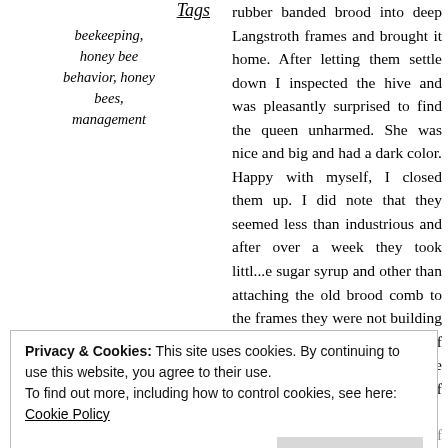Tags
beekeeping, honey bee behavior, honey bees, management
rubber banded brood into deep Langstroth frames and brought it home. After letting them settle down I inspected the hive and was pleasantly surprised to find the queen unharmed. She was nice and big and had a dark color. Happy with myself, I closed them up. I did note that they seemed less than industrious and after over a week they took littl...e sugar syrup and other than attaching the old brood comb to the frames they were not building new comb. There were plenty of loafers around the front while seemingly there was plenty of work to be done!
Privacy & Cookies: This site uses cookies. By continuing to use this website, you agree to their use.
To find out more, including how to control cookies, see here: Cookie Policy
Close and accept
queen for flight. I though to check if that fat,